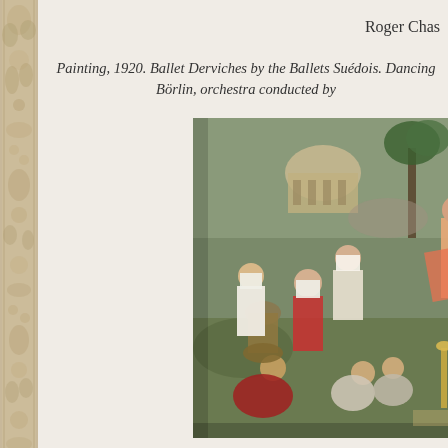[Figure (illustration): Decorative border on the left side of the page with ornate pattern in beige, tan and brown tones]
Roger Chas
Painting, 1920. Ballet Derviches by the Ballets Suédois. Dancing by Jean Börlin, orchestra conducted by
[Figure (photo): An orientalist painting depicting a scene with multiple figures in Middle Eastern costumes in an architectural setting. Some figures are dancing or reclining, with a domed building in the background.]